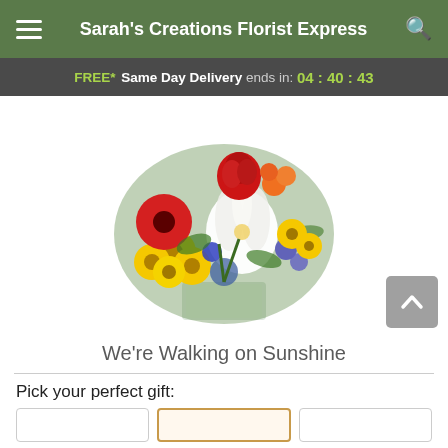Sarah's Creations Florist Express
FREE* Same Day Delivery ends in: 04:40:43
[Figure (photo): A colorful flower bouquet arrangement in a square glass vase, featuring red roses, red gerbera daisies, yellow daisies, white lilies, orange flowers, purple/blue flowers, and green foliage.]
We're Walking on Sunshine
Pick your perfect gift: